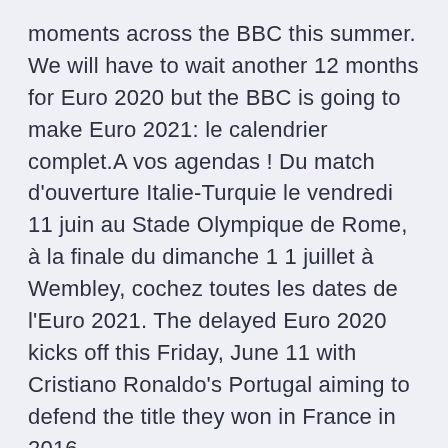moments across the BBC this summer. We will have to wait another 12 months for Euro 2020 but the BBC is going to make Euro 2021: le calendrier complet.A vos agendas ! Du match d'ouverture Italie-Turquie le vendredi 11 juin au Stade Olympique de Rome, à la finale du dimanche 1 1 juillet à Wembley, cochez toutes les dates de l'Euro 2021. The delayed Euro 2020 kicks off this Friday, June 11 with Cristiano Ronaldo's Portugal aiming to defend the title they won in France in 2016.